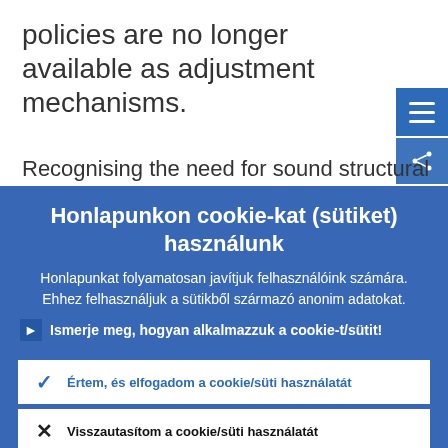policies are no longer available as adjustment mechanisms.
Recognising the need for sound structural
Honlapunkon cookie-kat (sütiket) használunk
Honlapunkat folyamatosan javítjuk felhasználóink számára. Ehhez felhasználjuk a sütikből származó anonim adatokat.
Ismerje meg, hogyan alkalmazzuk a cookie-t/sütit!
Értem, és elfogadom a cookie/süti használatát
Visszautasítom a cookie/süti használatát